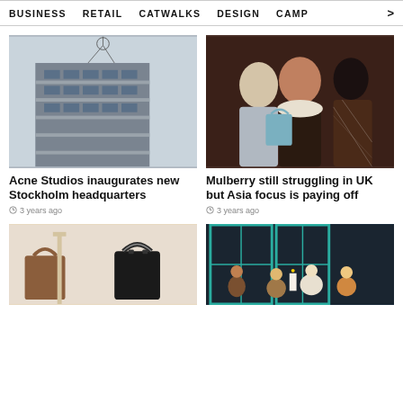BUSINESS   RETAIL   CATWALKS   DESIGN   CAMP >
[Figure (photo): Exterior of a modern multi-storey building with a satellite dish on top, photographed from below against a light sky.]
Acne Studios inaugurates new Stockholm headquarters
3 years ago
[Figure (photo): Three fashion models posing together wearing luxury outfits including plaid coats and fur, one carrying a light blue handbag.]
Mulberry still struggling in UK but Asia focus is paying off
3 years ago
[Figure (photo): Display of leather handbags including brown and black tote bags on pedestals against a white background.]
[Figure (photo): Group of fashionable people at an indoor event near large teal-framed windows.]